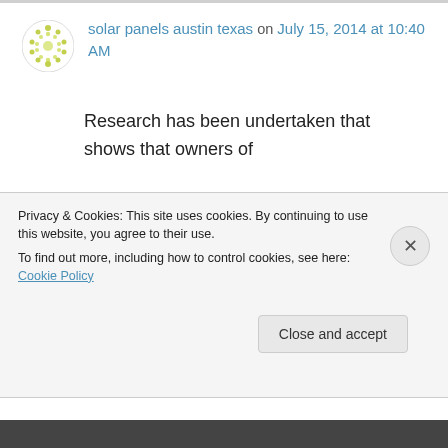[Figure (logo): Circular avatar icon with green/yellow dot pattern on white background]
solar panels austin texas on July 15, 2014 at 10:40 AM
Research has been undertaken that shows that owners of small solar pv systems have received the highest payments, with the payback period now down to 9 – 12 years. It shows some stunning pictures of solar
Privacy & Cookies: This site uses cookies. By continuing to use this website, you agree to their use. To find out more, including how to control cookies, see here: Cookie Policy
Close and accept